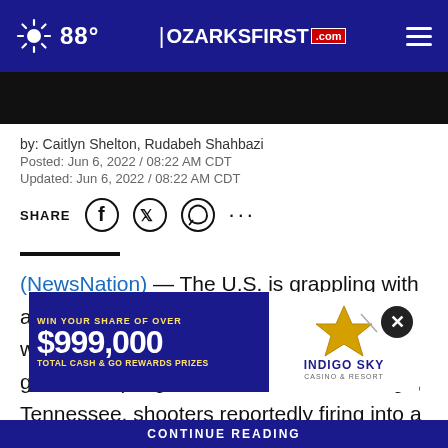88° | OZARKSFIRST.com
by: Caitlyn Shelton, Rudabeh Shahbazi
Posted: Jun 6, 2022 / 08:22 AM CDT
Updated: Jun 6, 2022 / 08:22 AM CDT
SHARE
(NewsNation) — The U.S. is grappling with another round of gun violence. This weekend's chaos left multiple dead with gunfire erupting near a bar in Chattanooga, Tennessee, shooters reportedly firing into a crowd in Philadelphia and an active shooter situation
[Figure (infographic): Casino advertisement: WIN YOUR SHARE OF OVER $999,000 TOTAL CASH & GO REWARDS PRIZES - INDIGO SKY CASINO & RESORT with star logo]
CONTINUE READING